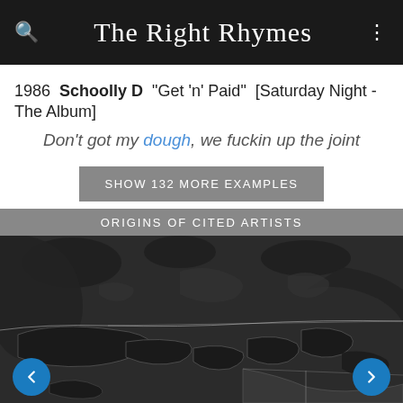The Right Rhymes
1986 Schoolly D "Get 'n' Paid" [Saturday Night - The Album]
Don't got my dough, we fuckin up the joint
SHOW 132 MORE EXAMPLES
ORIGINS OF CITED ARTISTS
[Figure (map): Dark-themed map showing northeastern North America, including the Great Lakes region and northeastern US states, used to show origins of cited artists.]